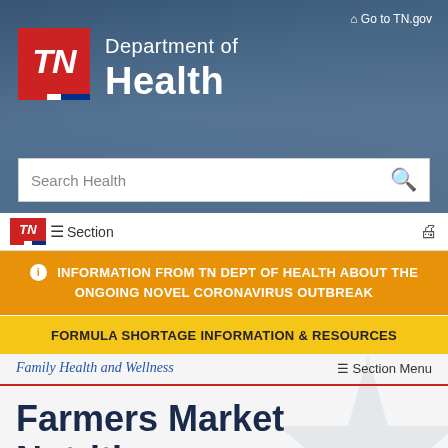TN Department of Health — Go to TN.gov
[Figure (logo): Tennessee Department of Health logo with red TN block and tricolor stripe, white text 'Department of Health']
Search Health
≡ Section
ⓘ INFORMATION FROM TN DEPT OF HEALTH ABOUT THE ONGOING NOVEL CORONAVIRUS OUTBREAK
FORMULA SHORTAGE INFORMATION & RESOURCES
Family Health and Wellness
Farmers Market Nutrition Programs